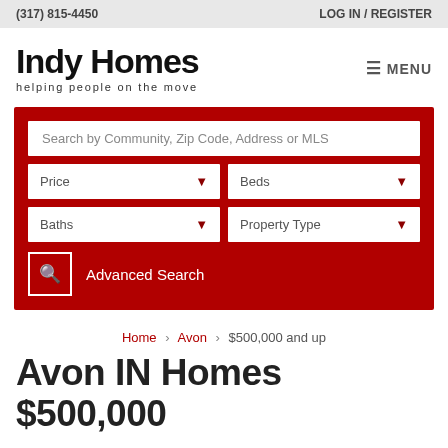(317) 815-4450 | LOG IN / REGISTER
Indy Homes
helping people on the move
[Figure (screenshot): Navigation search form with fields: Search by Community, Zip Code, Address or MLS; Price dropdown; Beds dropdown; Baths dropdown; Property Type dropdown; Search button; Advanced Search link]
Home > Avon > $500,000 and up
Avon IN Homes $500,000